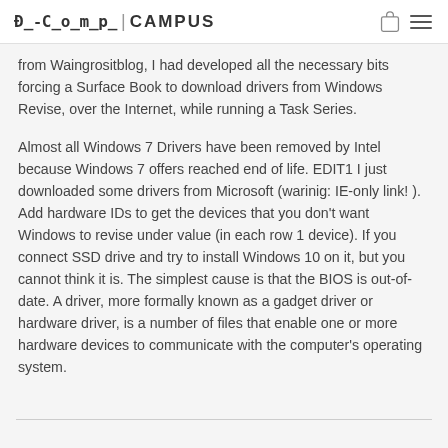A-Comp CAMPUS
from Waingrositblog, I had developed all the necessary bits forcing a Surface Book to download drivers from Windows Revise, over the Internet, while running a Task Series.
Almost all Windows 7 Drivers have been removed by Intel because Windows 7 offers reached end of life. EDIT1 I just downloaded some drivers from Microsoft (warinig: IE-only link! ). Add hardware IDs to get the devices that you don’t want Windows to revise under value (in each row 1 device). If you connect SSD drive and try to install Windows 10 on it, but you cannot think it is. The simplest cause is that the BIOS is out-of-date. A driver, more formally known as a gadget driver or hardware driver, is a number of files that enable one or more hardware devices to communicate with the computer’s operating system.